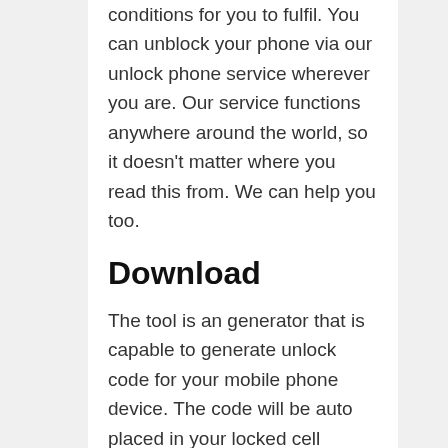conditions for you to fulfil. You can unblock your phone via our unlock phone service wherever you are. Our service functions anywhere around the world, so it doesn't matter where you read this from. We can help you too.
Download
The tool is an generator that is capable to generate unlock code for your mobile phone device. The code will be auto placed in your locked cell phone device and you will use this device on any SIM card in the world. This procedure will give you a lot of benefits. Thanks to this unblock phone procedure you can use your cell device on the cheapest mobile phone provider